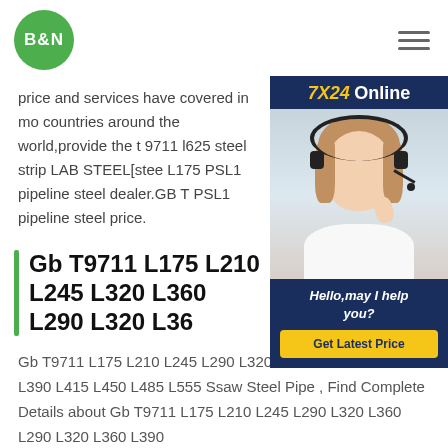[Figure (logo): B&N logo: green circle with white text B&N]
price and services have covered in mo countries around the world,provide the t 9711 l625 steel strip LAB STEEL[stee L175 PSL1 pipeline steel dealer.GB T PSL1 pipeline steel price.
[Figure (photo): 7X24 Online chat widget with woman in headset and 'Hello, may I help you?' and 'Get Latest Price' button]
Gb T9711 L175 L210 L245 L320 L360 L290 L320 L36
Gb T9711 L175 L210 L245 L290 L320 L360 L290 L320 L360 L390 L415 L450 L485 L555 Ssaw Steel Pipe , Find Complete Details about Gb T9711 L175 L210 L245 L290 L320 L360 L290 L320 L360 L390